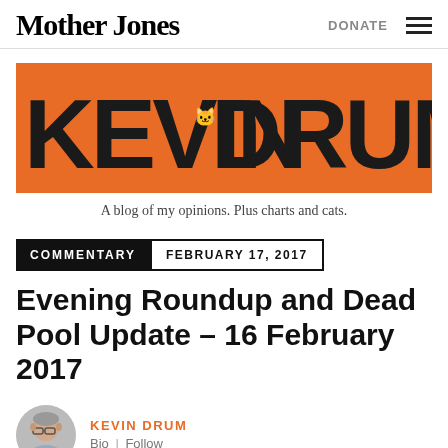Mother Jones | DONATE
[Figure (logo): Kevin Drum blog banner: orange background with large black stylized text reading KEVIN DRUM with illustrated icons embedded in the letters]
A blog of my opinions. Plus charts and cats.
COMMENTARY  FEBRUARY 17, 2017
Evening Roundup and Dead Pool Update – 16 February 2017
KEVIN DRUM
Bio | Follow